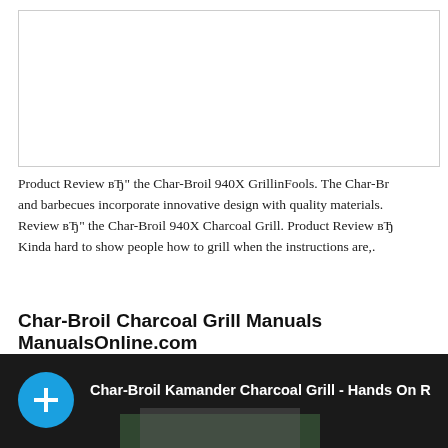[Figure (screenshot): Empty white box with border, representing a cropped/blank image area at the top of the page]
Product Review вЂ" the Char-Broil 940X GrillinFools. The Char-Broil and barbecues incorporate innovative design with quality materials. Review вЂ" the Char-Broil 940X Charcoal Grill. Product Review вЂ Kinda hard to show people how to grill when the instructions are,.
Char-Broil Charcoal Grill Manuals ManualsOnline.com
[Figure (screenshot): Video thumbnail with dark background, blue circle plus icon on left, white text 'Char-Broil Kamander Charcoal Grill - Hands On R' and a charcoal grill visible in background]